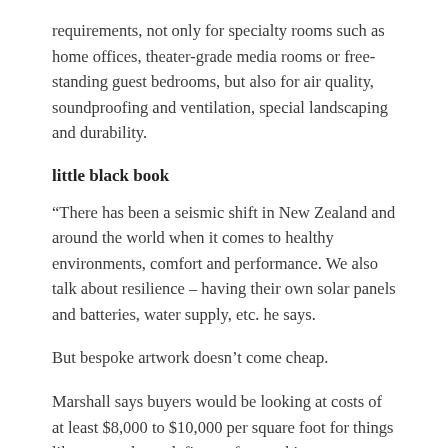requirements, not only for specialty rooms such as home offices, theater-grade media rooms or free-standing guest bedrooms, but also for air quality, soundproofing and ventilation, special landscaping and durability.
little black book
“There has been a seismic shift in New Zealand and around the world when it comes to healthy environments, comfort and performance. We also talk about resilience – having their own solar panels and batteries, water supply, etc. he says.
But bespoke artwork doesn’t come cheap.
Marshall says buyers would be looking at costs of at least $8,000 to $10,000 per square foot for things like exposed wood, fine craftsmanship, not including engineering, groundwork or landscaping.